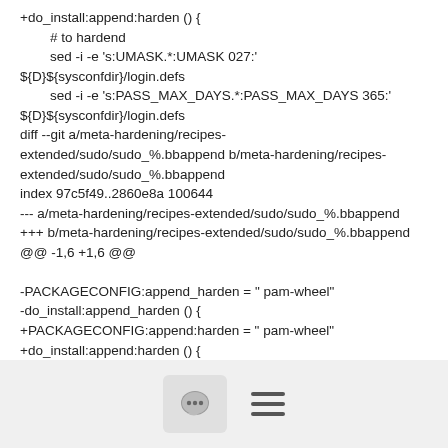+do_install:append:harden () {
        # to hardend
        sed -i -e 's:UMASK.*:UMASK 027:' ${D}${sysconfdir}/login.defs
        sed -i -e 's:PASS_MAX_DAYS.*:PASS_MAX_DAYS 365:' ${D}${sysconfdir}/login.defs
diff --git a/meta-hardening/recipes-extended/sudo/sudo_%.bbappend b/meta-hardening/recipes-extended/sudo/sudo_%.bbappend
index 97c5f49..2860e8a 100644
--- a/meta-hardening/recipes-extended/sudo/sudo_%.bbappend
+++ b/meta-hardening/recipes-extended/sudo/sudo_%.bbappend
@@ -1,6 +1,6 @@

-PACKAGECONFIG:append_harden = " pam-wheel"
-do_install:append_harden () {
+PACKAGECONFIG:append:harden = " pam-wheel"
+do_install:append:harden () {
     if [ "${@bb.utils.contains('DISABLE_ROOT', 'True', 'yes', 'no',
[Figure (other): Footer bar with chat bubble icon button and hamburger menu icon]